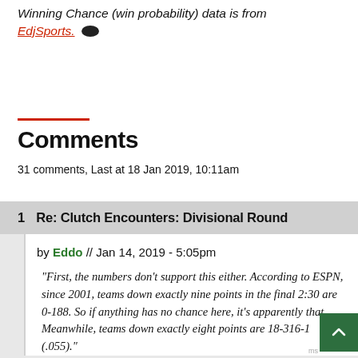Winning Chance (win probability) data is from EdjSports.
Comments
31 comments, Last at 18 Jan 2019, 10:11am
1  Re: Clutch Encounters: Divisional Round
by Eddo // Jan 14, 2019 - 5:05pm
"First, the numbers don't support this either. According to ESPN, since 2001, teams down exactly nine points in the final 2:30 are 0-188. So if anything has no chance here, it's apparently that. Meanwhile, teams down exactly eight points are 18-316-1 (.055)."